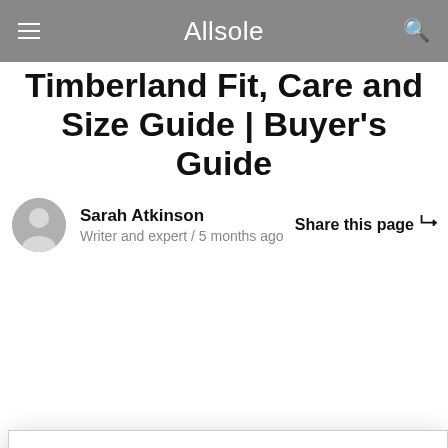Allsole
Timberland Fit, Care and Size Guide | Buyer's Guide
Sarah Atkinson
Writer and expert / 5 months ago
Share this page
Let's Tailor Your Experience
Our site uses cookies and other similar technologies so that we, and our partners, can improve operational performance of the site and give you a personalised shopping and advertising experience. To edit your preferences select "Set Preferences" where you can change these at any time. Find out more information here.
Set Preferences   That's OK